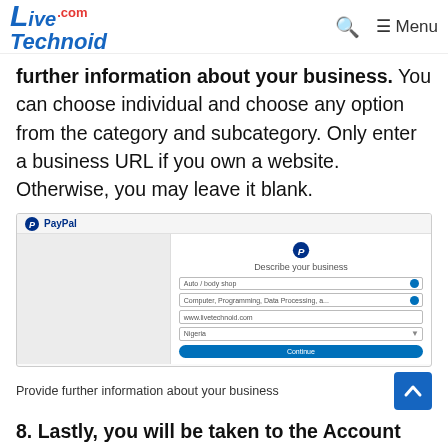LiveTechnoid.com — Menu
further information about your business. You can choose individual and choose any option from the category and subcategory. Only enter a business URL if you own a website. Otherwise, you may leave it blank.
[Figure (screenshot): PayPal 'Describe your business' form screenshot showing business type, category, subcategory/business URL, and country fields with a Continue button]
Provide further information about your business
8. Lastly, you will be taken to the Account